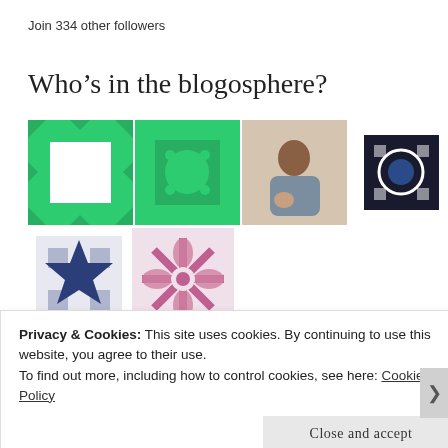Join 334 other followers
Who's in the blogosphere?
[Figure (illustration): A grid of blogger avatar icons: green quilt pattern, green dotted quilt pattern, photo of person holding child, black and white geometric pattern, sunset silhouette photo, colorful room interior photo, portrait of woman with glasses, teal geometric pattern, blue quilt pattern, pink/mauve floral quilt pattern]
Quotable Quotes
Privacy & Cookies: This site uses cookies. By continuing to use this website, you agree to their use.
To find out more, including how to control cookies, see here: Cookie Policy
Close and accept